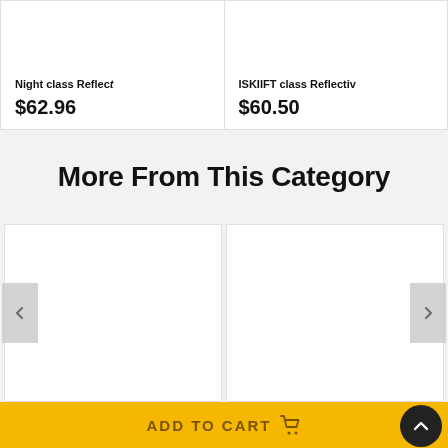Night class Reflect
$62.96
ISKIIFT class Reflectiv
$60.50
More From This Category
[Figure (other): Left product image placeholder (white box)]
[Figure (other): Right product image placeholder (white box)]
ADD TO CART